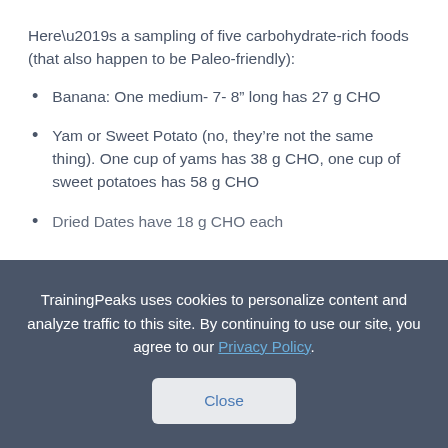Here’s a sampling of five carbohydrate-rich foods (that also happen to be Paleo-friendly):
Banana: One medium- 7- 8” long has 27 g CHO
Yam or Sweet Potato (no, they’re not the same thing). One cup of yams has 38 g CHO, one cup of sweet potatoes has 58 g CHO
Dried Dates have 18 g CHO each
TrainingPeaks uses cookies to personalize content and analyze traffic to this site. By continuing to use our site, you agree to our Privacy Policy.
Close